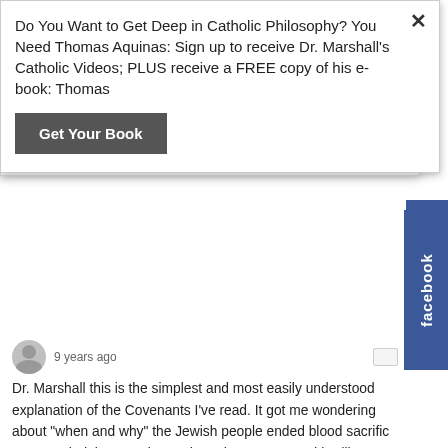Do You Want to Get Deep in Catholic Philosophy? You Need Thomas Aquinas: Sign up to receive Dr. Marshall's Catholic Videos; PLUS receive a FREE copy of his e-book: Thomas
Get Your Book
9 years ago
Dr. Marshall this is the simplest and most easily understood explanation of the Covenants I've read. It got me wondering about "when and why" the Jewish people ended blood sacrifice, so I googled the question and got the answer, and it's like a jigsaw puzzle piece that fits just right. I won't add the hyperlink because I don't want to go to 'comments purgatory', but any authentic Jewish site should give one accurate info. I love these short and pithy explanations. God bless.
^ | v  Reply
david
9 years ago
"... this structure than reading ..."